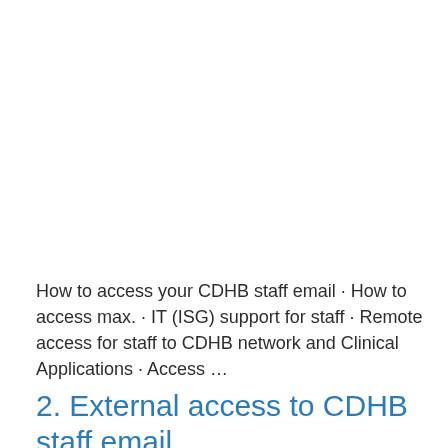How to access your CDHB staff email · How to access max. · IT (ISG) support for staff · Remote access for staff to CDHB network and Clinical Applications · Access ...
2. External access to CDHB staff email